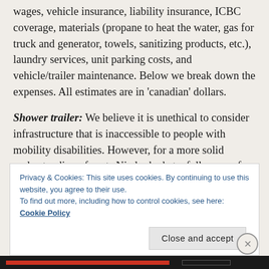wages, vehicle insurance, liability insurance, ICBC coverage, materials (propane to heat the water, gas for truck and generator, towels, sanitizing products, etc.), laundry services, unit parking costs, and vehicle/trailer maintenance. Below we break down the expenses. All estimates are in 'canadian' dollars.
Shower trailer: We believe it is unethical to consider infrastructure that is inaccessible to people with mobility disabilities. However, for a more solid understanding of costs Nic looked at a full range of options, consulting both with LavaMaeX for a general sense of cost range and five commercial
Privacy & Cookies: This site uses cookies. By continuing to use this website, you agree to their use.
To find out more, including how to control cookies, see here:
Cookie Policy
Close and accept